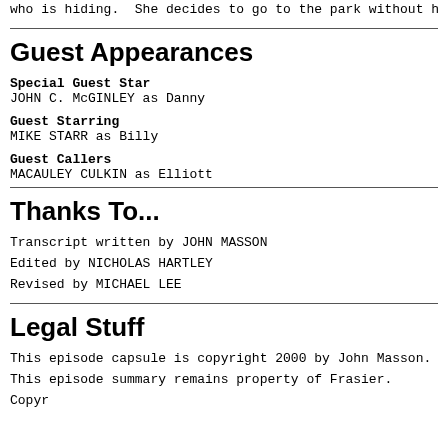who is hiding.  She decides to go to the park without hi
Guest Appearances
Special Guest Star
JOHN C. McGINLEY as Danny
Guest Starring
MIKE STARR as Billy
Guest Callers
MACAULEY CULKIN as Elliott
Thanks To...
Transcript written by JOHN MASSON
Edited by NICHOLAS HARTLEY
Revised by MICHAEL LEE
Legal Stuff
This episode capsule is copyright 2000 by John Masson.
This episode summary remains property of Frasier. Copyr